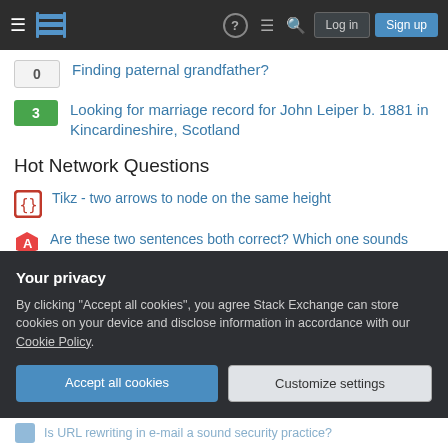Stack Exchange navigation bar with Log in and Sign up buttons
0 — Finding paternal grandfather?
3 — Looking for marriage record for John Leiper b. 1881 in Kincardineshire, Scotland
Hot Network Questions
Tikz - two arrows to node on the same height
Are these two sentences both correct? Which one sounds more natural?
Which (if any) space telescope would have worked longer if it hadn't simply run out of helium?
Etiquette for an incorrect PR
Your privacy
By clicking "Accept all cookies", you agree Stack Exchange can store cookies on your device and disclose information in accordance with our Cookie Policy.
[Accept all cookies] [Customize settings]
Is URL rewriting in e-mail a sound security practice?